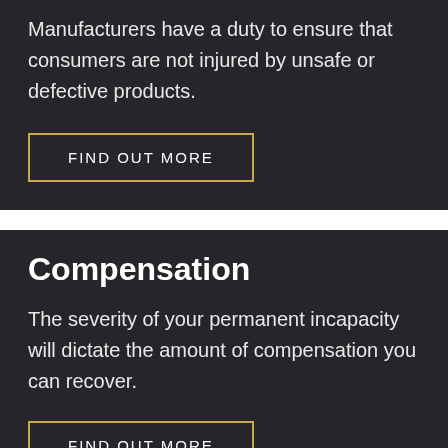Manufacturers have a duty to ensure that consumers are not injured by unsafe or defective products.
FIND OUT MORE
Compensation
The severity of your permanent incapacity will dictate the amount of compensation you can recover.
FIND OUT MORE